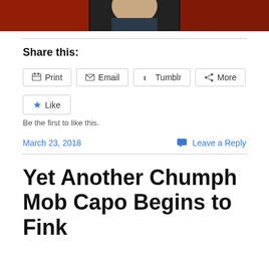[Figure (photo): Cropped photo of a man in a suit with red background, only lower face and torso visible]
Share this:
Print  Email  Tumblr  More
Like
Be the first to like this.
March 23, 2018
Leave a Reply
Yet Another Chumph Mob Capo Begins to Fink